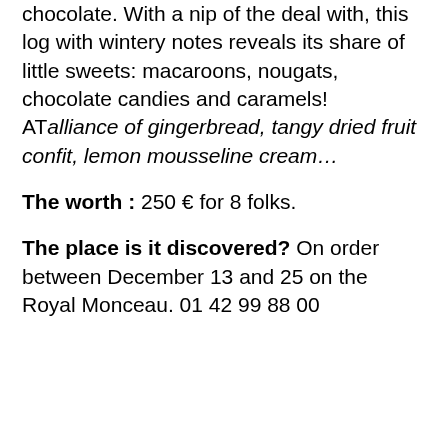chocolate. With a nip of the deal with, this log with wintery notes reveals its share of little sweets: macaroons, nougats, chocolate candies and caramels! ATalliance of gingerbread, tangy dried fruit confit, lemon mousseline cream…
The worth : 250 € for 8 folks.
The place is it discovered? On order between December 13 and 25 on the Royal Monceau. 01 42 99 88 00